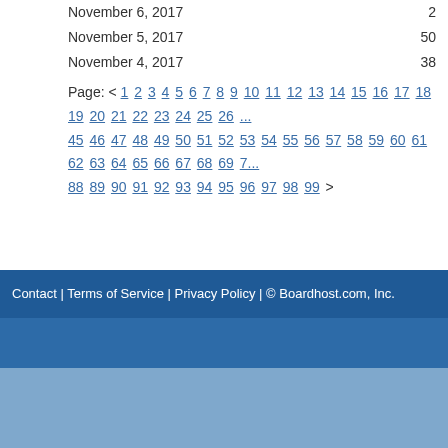November 6, 2017   2
November 5, 2017   50
November 4, 2017   38
Page: < 1 2 3 4 5 6 7 8 9 10 11 12 13 14 15 16 17 18 19 20 21 22 23 24 25 26 ... 45 46 47 48 49 50 51 52 53 54 55 56 57 58 59 60 61 62 63 64 65 66 67 68 69 7... 88 89 90 91 92 93 94 95 96 97 98 99 >
Contact | Terms of Service | Privacy Policy | © Boardhost.com, Inc.   Th